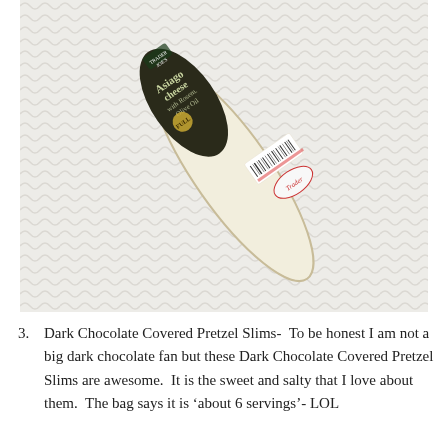[Figure (photo): A wedge of Trader Joe's Asiago Cheese with Rosemary Olive Oil, packaged and labeled, lying on a white wavy-textured surface (paper towel or similar).]
3. Dark Chocolate Covered Pretzel Slims-  To be honest I am not a big dark chocolate fan but these Dark Chocolate Covered Pretzel Slims are awesome.  It is the sweet and salty that I love about them.  The bag says it is ‘about 6 servings’- LOL